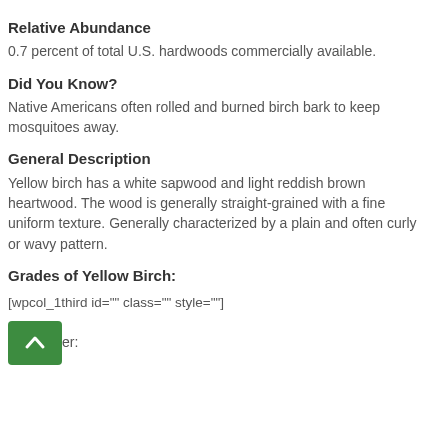Relative Abundance
0.7 percent of total U.S. hardwoods commercially available.
Did You Know?
Native Americans often rolled and burned birch bark to keep mosquitoes away.
General Description
Yellow birch has a white sapwood and light reddish brown heartwood. The wood is generally straight-grained with a fine uniform texture. Generally characterized by a plain and often curly or wavy pattern.
Grades of Yellow Birch:
[wpcol_1third id="" class="" style=""]
Sel&Better: